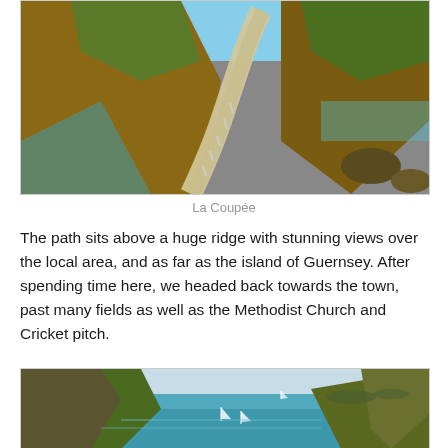[Figure (photo): Aerial view of La Coupée, a narrow road/causeway running along a high ridge between rocky cliffs with turquoise sea visible on one side and green vegetation on the other.]
La Coupée
The path sits above a huge ridge with stunning views over the local area, and as far as the island of Guernsey. After spending time here, we headed back towards the town, past many fields as well as the Methodist Church and Cricket pitch.
[Figure (photo): Aerial coastal view of a cove or harbour with turquoise blue water, rocky green headlands, sailing boats at anchor, and distant islands on the horizon under a pale sky.]